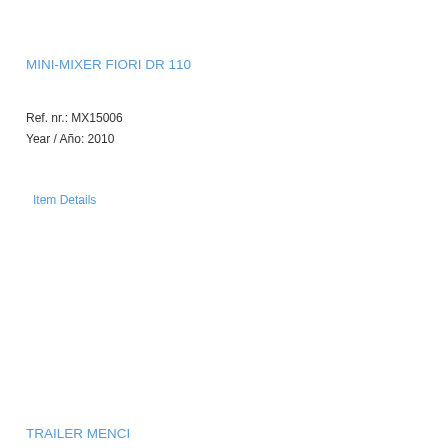MINI-MIXER FIORI DR 110
Ref. nr.: MX15006
Year / Año: 2010
Item Details
TRAILER MENCI